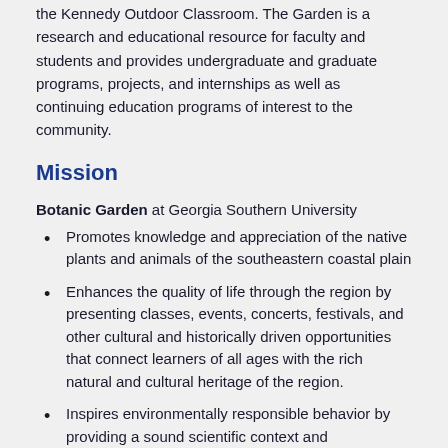the Kennedy Outdoor Classroom. The Garden is a research and educational resource for faculty and students and provides undergraduate and graduate programs, projects, and internships as well as continuing education programs of interest to the community.
Mission
Botanic Garden at Georgia Southern University
Promotes knowledge and appreciation of the native plants and animals of the southeastern coastal plain
Enhances the quality of life through the region by presenting classes, events, concerts, festivals, and other cultural and historically driven opportunities that connect learners of all ages with the rich natural and cultural heritage of the region.
Inspires environmentally responsible behavior by providing a sound scientific context and demonstrating sustainable practices while pursuing scientific, cultural, and creative solutions to environmental challenges.
History